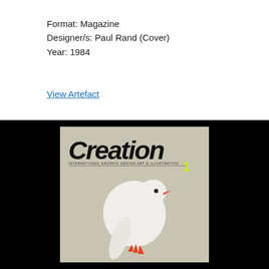Format: Magazine
Designer/s: Paul Rand (Cover)
Year: 1984
View Artefact
[Figure (photo): Magazine cover of 'Creation' — International Graphic Design Art & Illustration, Number 1, 1984. Cover designed by Paul Rand featuring a large stylized white dove on a grey background with bold italic 'Creation' logotype at top and a small neon yellow number 1.]